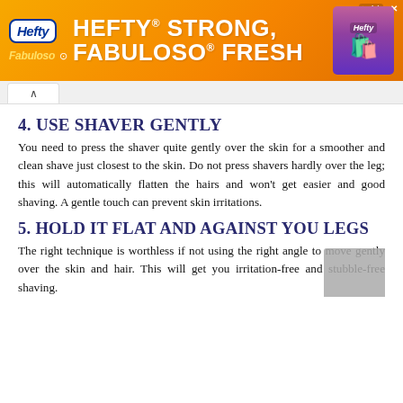[Figure (other): Hefty brand advertisement banner with orange background. Text reads 'HEFTY STRONG, FABULOSO FRESH'. Shows Hefty logo, Fabuloso logo, Arm & Hammer logo, and a product image on the right.]
4. USE SHAVER GENTLY
You need to press the shaver quite gently over the skin for a smoother and clean shave just closest to the skin. Do not press shavers hardly over the leg; this will automatically flatten the hairs and won't get easier and good shaving. A gentle touch can prevent skin irritations.
5. HOLD IT FLAT AND AGAINST YOU LEGS
The right technique is worthless if not using the right angle to move gently over the skin and hair. This will get you irritation-free and stubble-free shaving.